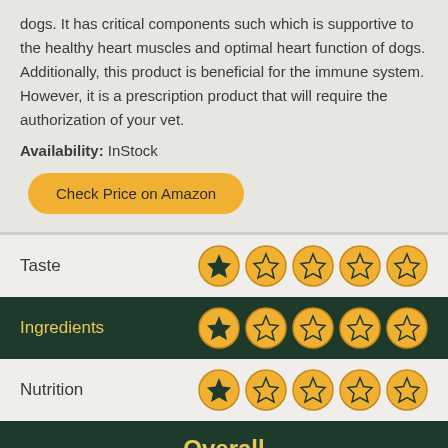dogs. It has critical components such which is supportive to the healthy heart muscles and optimal heart function of dogs. Additionally, this product is beneficial for the immune system. However, it is a prescription product that will require the authorization of your vet.
Availability: InStock
Check Price on Amazon
| Category | Rating |
| --- | --- |
| Taste | 1/5 |
| Ingredients | 1/5 |
| Nutrition | 1/5 |
Overall